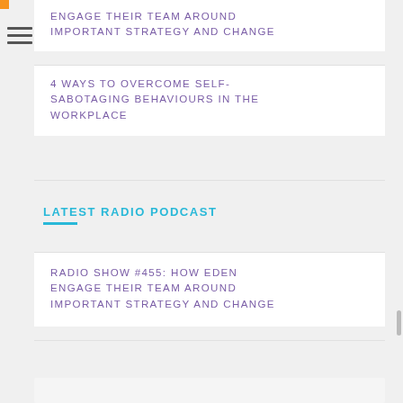ENGAGE THEIR TEAM AROUND IMPORTANT STRATEGY AND CHANGE
4 WAYS TO OVERCOME SELF-SABOTAGING BEHAVIOURS IN THE WORKPLACE
LATEST RADIO PODCAST
RADIO SHOW #455: HOW EDEN ENGAGE THEIR TEAM AROUND IMPORTANT STRATEGY AND CHANGE